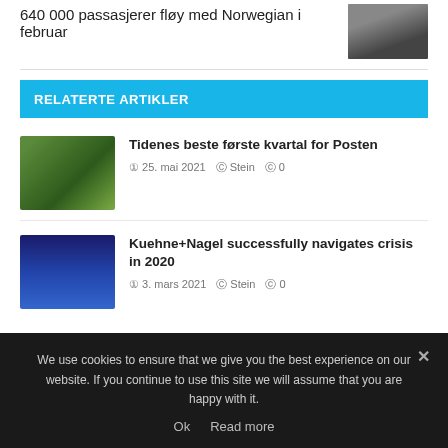640 000 passasjerer fløy med Norwegian i februar
[Figure (photo): Dark photo thumbnail of a person or scene]
RELATERTE ARTIKLER
[Figure (photo): Greenhouse/plants thumbnail]
Tidenes beste første kvartal for Posten
25. mai 2021   Stein   0
[Figure (photo): Lab/blue object thumbnail]
Kuehne+Nagel successfully navigates crisis in 2020
3. mars 2021   Stein   0
We use cookies to ensure that we give you the best experience on our website. If you continue to use this site we will assume that you are happy with it.
Ok   Read more